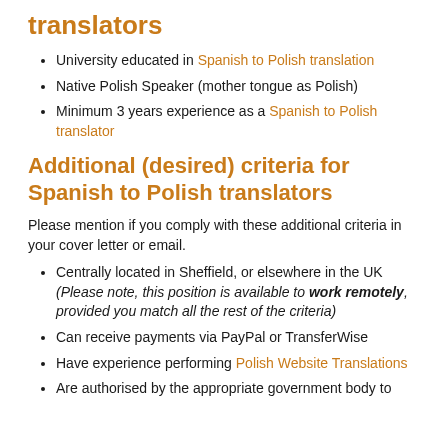translators
University educated in Spanish to Polish translation
Native Polish Speaker (mother tongue as Polish)
Minimum 3 years experience as a Spanish to Polish translator
Additional (desired) criteria for Spanish to Polish translators
Please mention if you comply with these additional criteria in your cover letter or email.
Centrally located in Sheffield, or elsewhere in the UK (Please note, this position is available to work remotely, provided you match all the rest of the criteria)
Can receive payments via PayPal or TransferWise
Have experience performing Polish Website Translations
Are authorised by the appropriate government body to